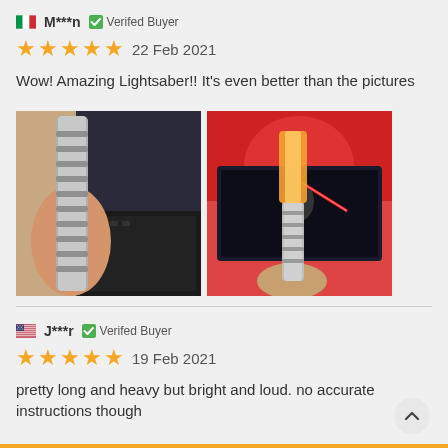M***n  Verifed Buyer
★★★★★  22 Feb 2021
Wow! Amazing Lightsaber!! It's even better than the pictures
[Figure (photo): Two photos of a lightsaber: left shows a silver metal handle held in hand; right shows the lightsaber glowing orange/red in front of a TV screen displaying a Star Wars lightsaber scene.]
J***r  Verifed Buyer
★★★★★  19 Feb 2021
pretty long and heavy but bright and loud. no accurate instructions though